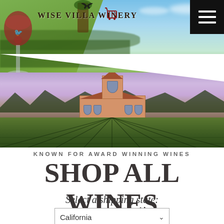[Figure (photo): Wise Villa Winery website screenshot showing a hero banner with two overlapping photos: top photo shows a wine glass with red wine and a bird logo against green hedges and blue sky; bottom photo shows the winery building (Italian-style architecture) set among vineyard rows with a purple-pink sunset sky. A hamburger menu icon in black is top-right. A shopping cart icon is in the top-center area. The winery logo text 'WISE VILLA WINERY' appears in the upper-left.]
KNOWN FOR AWARD WINNING WINES
SHOP ALL WINES
Select a shipping state:
California